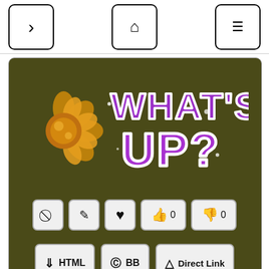Navigation bar with back, home, and menu buttons
[Figure (screenshot): Decorative styled text logo reading 'WHAT'S UP?' in purple glittery letters with gold flower decoration on dark olive background]
Action icons: block, edit, heart, thumbs up 0, thumbs down 0
HTML | BB | Direct Link buttons
Share button
[Figure (screenshot): Decorative styled text logo reading 'HEY YOU!' in metallic/stone letters with fire effect on dark olive background]
Bottom icon row partially visible: block, edit, heart, thumbs up, thumbs down